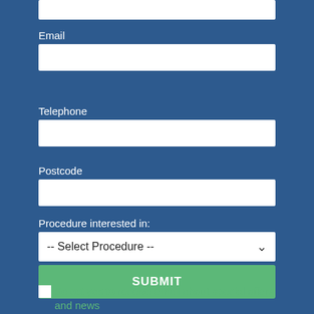Email
Telephone
Postcode
Procedure interested in:
-- Select Procedure --
SUBMIT
Select yes to receive email about special offers and news